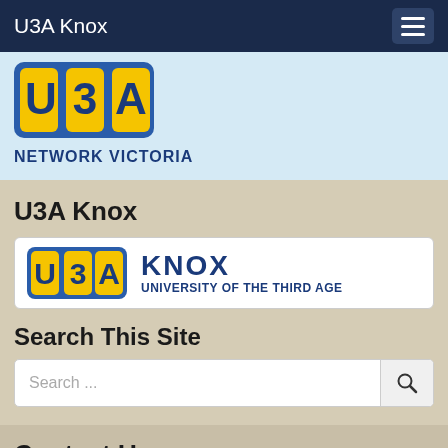U3A Knox
[Figure (logo): U3A Network Victoria logo on light blue background]
U3A Knox
[Figure (logo): U3A Knox – University of the Third Age logo banner]
Search This Site
Search ...
Contact Us